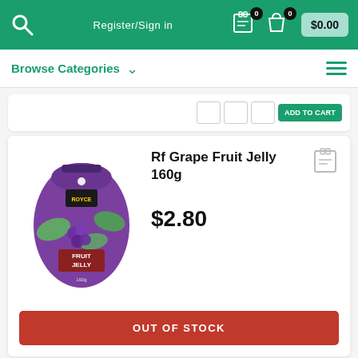Register/Sign in  $0.00
Browse Categories
Rf Grape Fruit Jelly 160g
$2.80
OUT OF STOCK